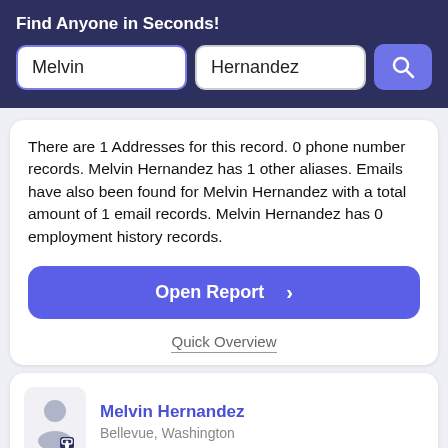Find Anyone in Seconds!
Melvin
Hernandez
There are 1 Addresses for this record. 0 phone number records. Melvin Hernandez has 1 other aliases. Emails have also been found for Melvin Hernandez with a total amount of 1 email records. Melvin Hernandez has 0 employment history records.
Open Report >
Quick Overview
[Figure (illustration): Avatar icon of a person silhouette with a lock icon]
Melvin Hernandez
Bellevue, Washington
Verified Match